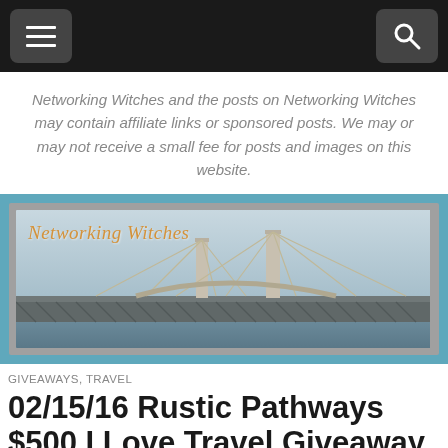[Navigation bar with menu and search icons]
Networking Witches and the posts on Networking Witches may contain affiliate links or sponsored posts. We may or may not receive a small fee for posts and images on this website.
[Figure (photo): Networking Witches website banner showing a large suspension bridge (Mackinac Bridge) over water with a light blue sky. The cursive orange text 'Networking Witches' overlays the top left of the image. The banner has a blue-gray outer border and gray inner border.]
GIVEAWAYS, TRAVEL
02/15/16 Rustic Pathways $500 I Love Travel Giveaway